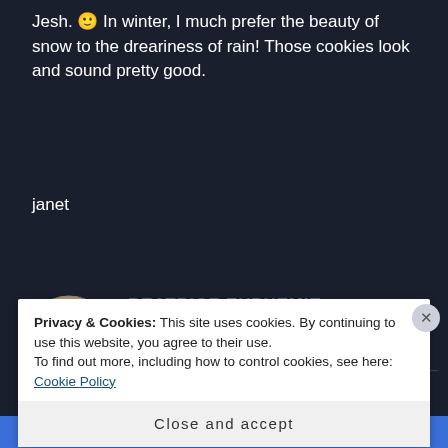Jesh. 🙂 In winter, I much prefer the beauty of snow to the dreariness of rain! Those cookies look and sound pretty good.
janet
BEATRICE EUPHEMIE says:
March 1, 2018 at 6:45 pm
[Figure (photo): Circular avatar photo of a smiling blonde woman]
Privacy & Cookies: This site uses cookies. By continuing to use this website, you agree to their use.
To find out more, including how to control cookies, see here: Cookie Policy
Close and accept